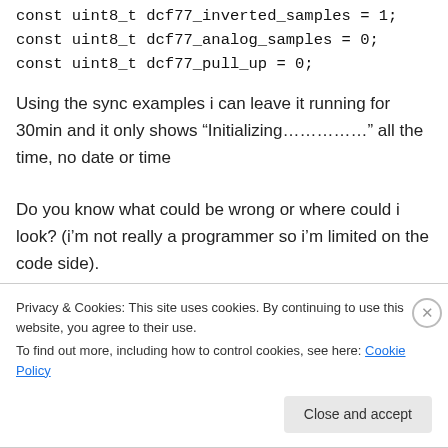const uint8_t dcf77_inverted_samples = 1;
const uint8_t dcf77_analog_samples = 0;
const uint8_t dcf77_pull_up = 0;
Using the sync examples i can leave it running for 30min and it only shows “Initializing……………” all the time, no date or time
Do you know what could be wrong or where could i look? (i’m not really a programmer so i’m limited on the code side).
Privacy & Cookies: This site uses cookies. By continuing to use this website, you agree to their use.
To find out more, including how to control cookies, see here: Cookie Policy